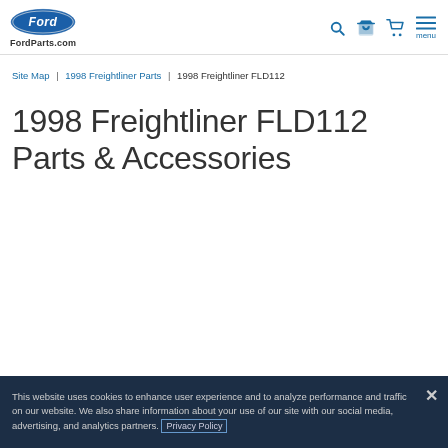FordParts.com
Site Map | 1998 Freightliner Parts | 1998 Freightliner FLD112
1998 Freightliner FLD112 Parts & Accessories
This website uses cookies to enhance user experience and to analyze performance and traffic on our website. We also share information about your use of our site with our social media, advertising, and analytics partners. Privacy Policy